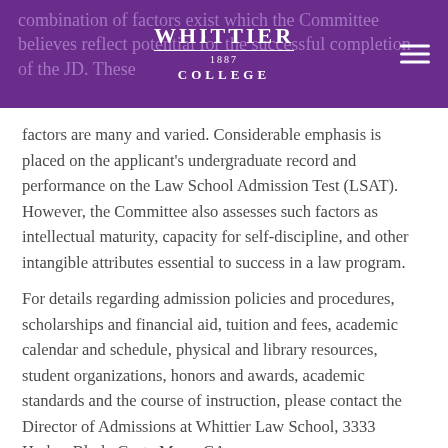WHITTIER 1887 COLLEGE
combination of factors exist which the Committee believes reflect potential for the successful completion of the JD. These factors are many and varied. Considerable emphasis is placed on the applicant's undergraduate record and performance on the Law School Admission Test (LSAT). However, the Committee also assesses such factors as intellectual maturity, capacity for self-discipline, and other intangible attributes essential to success in a law program.
For details regarding admission policies and procedures, scholarships and financial aid, tuition and fees, academic calendar and schedule, physical and library resources, student organizations, honors and awards, academic standards and the course of instruction, please contact the Director of Admissions at Whittier Law School, 3333 Harbor Blvd., Costa Mesa, CA